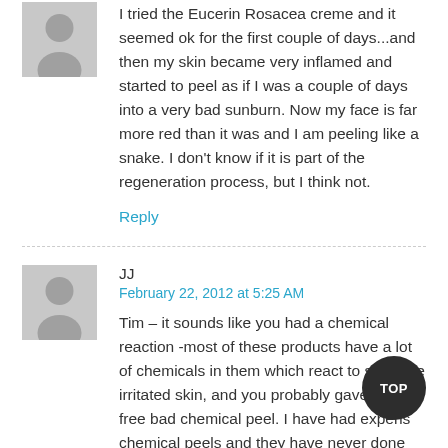[Figure (illustration): Grey avatar placeholder image of a person silhouette]
I tried the Eucerin Rosacea creme and it seemed ok for the first couple of days...and then my skin became very inflamed and started to peel as if I was a couple of days into a very bad sunburn. Now my face is far more red than it was and I am peeling like a snake. I don't know if it is part of the regeneration process, but I think not.
Reply
[Figure (illustration): Grey avatar placeholder image of a person silhouette]
JJ
February 22, 2012 at 5:25 AM
Tim – it sounds like you had a chemical reaction -most of these products have a lot of chemicals in them which react to sensitive irritated skin, and you probably gave yourself a free bad chemical peel. I have had expensive chemical peels and they have never done that